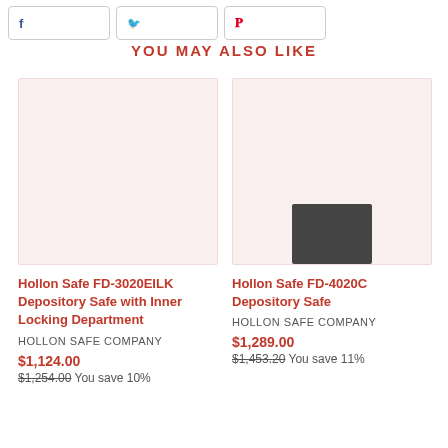[Figure (other): Social sharing buttons: Facebook, Twitter, Pinterest]
YOU MAY ALSO LIKE
[Figure (photo): Product image placeholder (pink/light red background) for Hollon Safe FD-3020EILK]
Hollon Safe FD-3020EILK Depository Safe with Inner Locking Department
HOLLON SAFE COMPANY
$1,124.00
$1,254.00 You save 10%
[Figure (photo): Product image placeholder (pink/light red background) for Hollon Safe FD-4020C]
Hollon Safe FD-4020C Depository Safe
HOLLON SAFE COMPANY
$1,289.00
$1,453.20 You save 11%